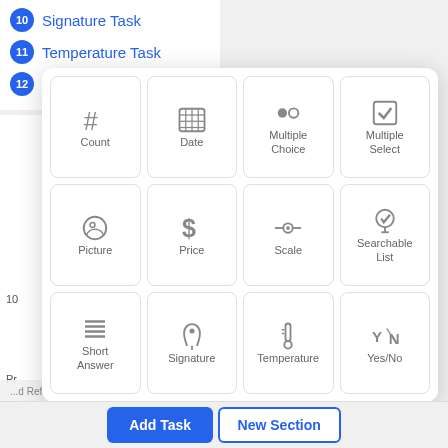10 Signature Task
11 Temperature Task
12 Yes/No Task
[Figure (screenshot): A popup grid of 12 task type options: Count, Date, Multiple Choice, Multiple Select, Picture, Price, Scale, Searchable List, Short Answer, Signature, Temperature, Yes/No]
Add Task | New Section (buttons)